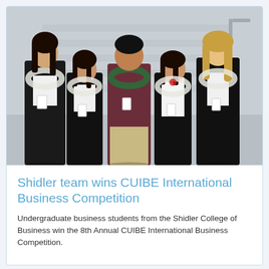[Figure (photo): Five students — four women and one man — standing together smiling in front of a staircase. They are wearing leis and event badges. Four are dressed in black professional attire; one man is wearing a maroon jacket with khaki pants.]
Shidler team wins CUIBE International Business Competition
Undergraduate business students from the Shidler College of Business win the 8th Annual CUIBE International Business Competition.